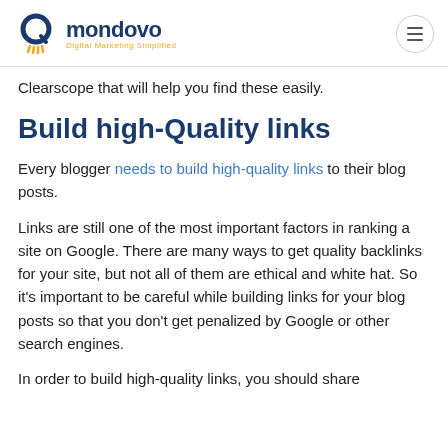mondovo — Digital Marketing Simplified
Clearscope that will help you find these easily.
Build high-Quality links
Every blogger needs to build high-quality links to their blog posts.
Links are still one of the most important factors in ranking a site on Google. There are many ways to get quality backlinks for your site, but not all of them are ethical and white hat. So it's important to be careful while building links for your blog posts so that you don't get penalized by Google or other search engines.
In order to build high-quality links, you should share